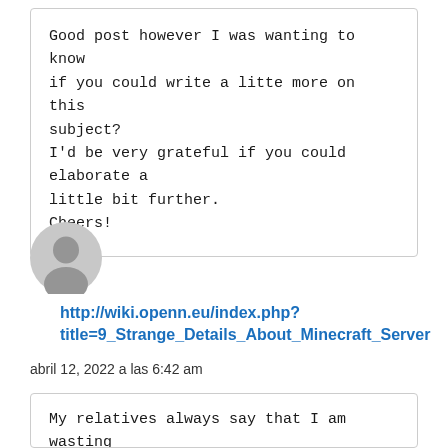Good post however I was wanting to know if you could write a litte more on this subject?
I'd be very grateful if you could elaborate a little bit further.
Cheers!
[Figure (illustration): Gray default user avatar icon (person silhouette in circle)]
http://wiki.openn.eu/index.php?title=9_Strange_Details_About_Minecraft_Server
abril 12, 2022 a las 6:42 am
My relatives always say that I am wasting my time here at web